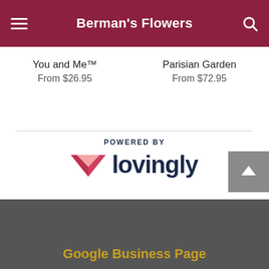Berman's Flowers
You and Me™
From $26.95
Parisian Garden
From $72.95
[Figure (logo): POWERED BY lovingly logo with pink/red heart-like icon and dark navy text]
Berman's Flowers is a Lovingly Momentmaker in Kingsburg, CA.
Buying local matters. Discover how Lovingly is committed to strengthening relationships by helping local florists market, sell, and deliver their floral designs online.
Google Business Page